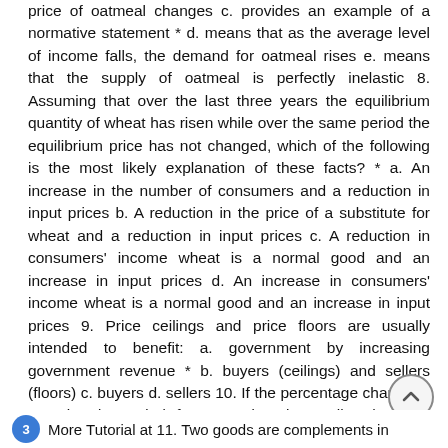price of oatmeal changes c. provides an example of a normative statement * d. means that as the average level of income falls, the demand for oatmeal rises e. means that the supply of oatmeal is perfectly inelastic 8. Assuming that over the last three years the equilibrium quantity of wheat has risen while over the same period the equilibrium price has not changed, which of the following is the most likely explanation of these facts? * a. An increase in the number of consumers and a reduction in input prices b. A reduction in the price of a substitute for wheat and a reduction in input prices c. A reduction in consumers' income wheat is a normal good and an increase in input prices d. An increase in consumers' income wheat is a normal good and an increase in input prices 9. Price ceilings and price floors are usually intended to benefit: a. government by increasing government revenue * b. buyers (ceilings) and sellers (floors) c. buyers d. sellers 10. If the percentage change in quantity demanded for a product is smaller than the percentage change in price, then demand for the good is a. infinitely elastic b. of unitary elasticity c. perfectly inelastic * d. inelastic e. elastic 2/7
More Tutorial at 11. Two goods are complements in